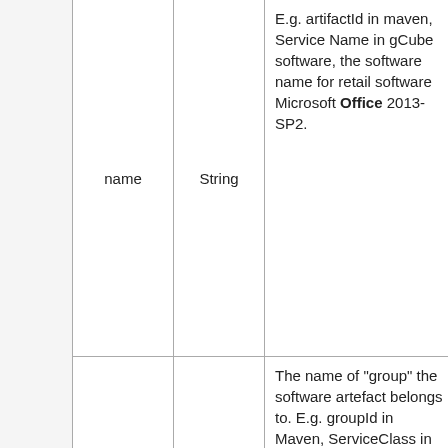|  | name | String | Description |  |
| --- | --- | --- | --- | --- |
|  | name | String | E.g. artifactId in maven, Service Name in gCube software, the software name for retail software Microsoft Office 2013-SP2. |  |
|  | group | String | The name of "group" the software artefact belongs to. E.g. groupId in Maven, ServiceClass in gCube |  |